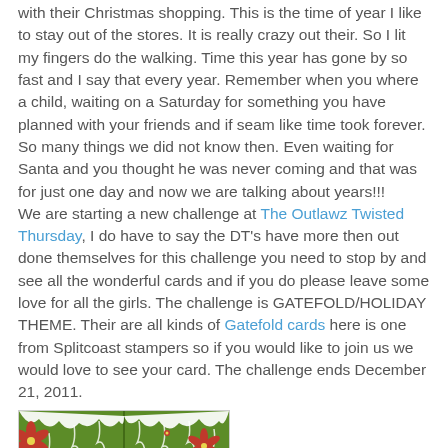with their Christmas shopping. This is the time of year I like to stay out of the stores. It is really crazy out their. So I lit my fingers do the walking. Time this year has gone by so fast and I say that every year. Remember when you where a child, waiting on a Saturday for something you have planned with your friends and if seam like time took forever. So many things we did not know then. Even waiting for Santa and you thought he was never coming and that was for just one day and now we are talking about years!!!
We are starting a new challenge at The Outlawz Twisted Thursday, I do have to say the DT's have more then out done themselves for this challenge you need to stop by and see all the wonderful cards and if you do please leave some love for all the girls. The challenge is GATEFOLD/HOLIDAY THEME. Their are all kinds of Gatefold cards here is one from Splitcoast stampers so if you would like to join us we would love to see your card. The challenge ends December 21, 2011.
[Figure (photo): A green gatefold card decorated with red poinsettia flowers and white lacy/snowy decorations along the top edge, shown partially open.]